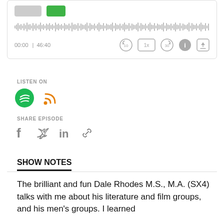[Figure (screenshot): Podcast player widget showing waveform, timestamp 00:00 | 46:40, playback controls including rewind 10, 1x speed, skip 30, info, and share buttons]
LISTEN ON
[Figure (logo): Spotify icon (green circle with white sound waves) and RSS feed icon (orange)]
SHARE EPISODE
[Figure (infographic): Social share icons: Facebook, Twitter, LinkedIn, and link/copy icons in gray]
SHOW NOTES
The brilliant and fun Dale Rhodes M.S., M.A. (SX4) talks with me about his literature and film groups, and his men's groups. I learned